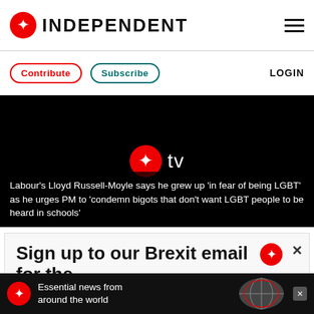INDEPENDENT
Contribute  Subscribe  LOGIN
[Figure (screenshot): Black video player area with The Independent TV logo (red eagle icon + 'tv' text in white) centered on a black background]
Labour's Lloyd Russell-Moyle says he grew up 'in fear of being LGBT' as he urges PM to 'condemn bigots that don't want LGBT people to be heard in schools'
Sign up to our Brexit email for the
Essential news from around the world